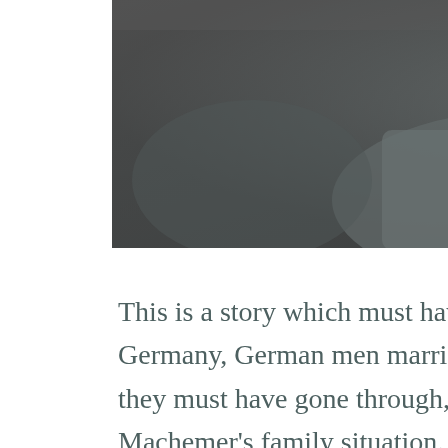[Figure (photo): Black and white photograph of a man in a German military uniform with an eagle insignia on the chest, appearing to be examining or adjusting something near his face/collar.]
This is a story which must have been repeated many times in Nazi Germany, German men married to Jewish women and the anxiety and fear they must have gone through, However there is also a uniqueness to the Machemer's family situation. And in a bizarre way this is also directly connected to me.
Helmut Machemer was a German ophthalmologist who served as “Truppenarzt” with the rank of “Unterarzt”, corresponding to the rank of sergeant with the wehrmacht in the USSR.
He worked with Professor Aurel von Szily in Münster during the 1930s and, with him, pioneered